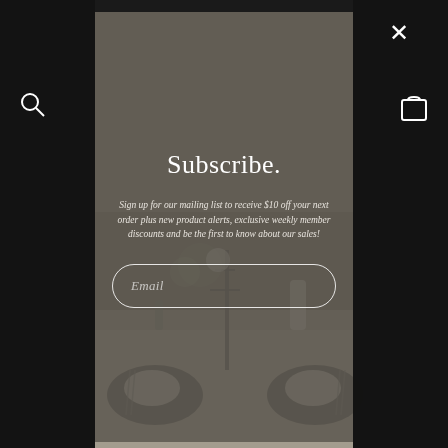[Figure (screenshot): Website screenshot with a modal popup overlay on a dark background showing a table setting photo behind. Left and right sides show dark navigation bar elements including search icon and bag icon.]
Subscribe.
Sign up for our mailing list to receive $10 off your next order plus new product alerts, exclusive weekly member discounts and be the first to know about our sales!